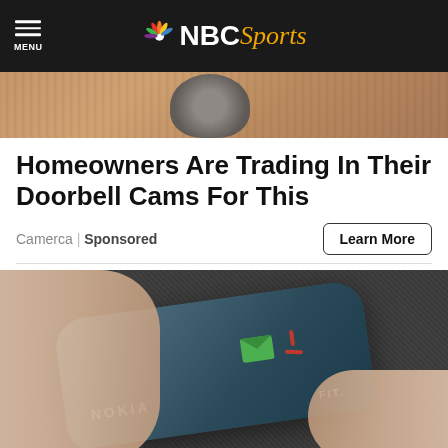MENU | NBC Sports
[Figure (photo): Top portion of a doorbell camera mounted on a stone wall]
Homeowners Are Trading In Their Doorbell Cams For This
Camerca | Sponsored
Learn More
[Figure (photo): A Nokia Fit smart ring/wearable device being held between two fingers, showing green envelope and red phone icons on its surface]
Here Are 23 of the Coolest Gifts for This 2023